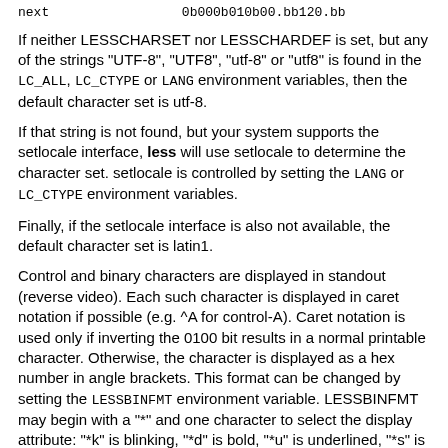next                 0b000b010b00.bb120.bb
If neither LESSCHARSET nor LESSCHARDEF is set, but any of the strings "UTF-8", "UTF8", "utf-8" or "utf8" is found in the LC_ALL, LC_CTYPE or LANG environment variables, then the default character set is utf-8.
If that string is not found, but your system supports the setlocale interface, less will use setlocale to determine the character set. setlocale is controlled by setting the LANG or LC_CTYPE environment variables.
Finally, if the setlocale interface is also not available, the default character set is latin1.
Control and binary characters are displayed in standout (reverse video). Each such character is displayed in caret notation if possible (e.g. ^A for control-A). Caret notation is used only if inverting the 0100 bit results in a normal printable character. Otherwise, the character is displayed as a hex number in angle brackets. This format can be changed by setting the LESSBINFMT environment variable. LESSBINFMT may begin with a "*" and one character to select the display attribute: "*k" is blinking, "*d" is bold, "*u" is underlined, "*s" is standout, and "*n" is normal. If LESSBINFMT does not begin with a "*", normal attribute is assumed. The remainder of LESSBINFMT is a string which